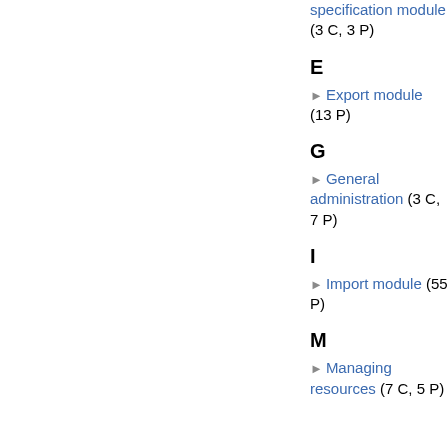specification module (3 C, 3 P)
E
Export module (13 P)
G
General administration (3 C, 7 P)
I
Import module (55 P)
M
Managing resources (7 C, 5 P)